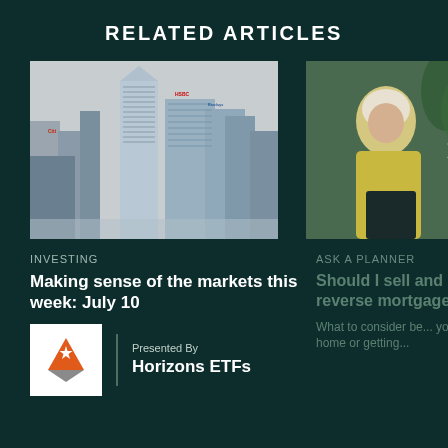RELATED ARTICLES
[Figure (photo): City skyline with tall glass office buildings including Citigroup and HSBC towers in Canary Wharf, London]
INVESTING
Making sense of the markets this week: July 10
[Figure (photo): Elderly woman with white/blonde hair wearing a yellow jacket, partially visible on right side with navigation chevron arrow]
ASK A PLANNER
Should I sell and r... reverse mortgage?
What to consider be... your home or getting...
[Figure (logo): Horizons ETFs logo — orange triangle with white star above a grey inverted triangle]
Presented By
Horizons ETFs